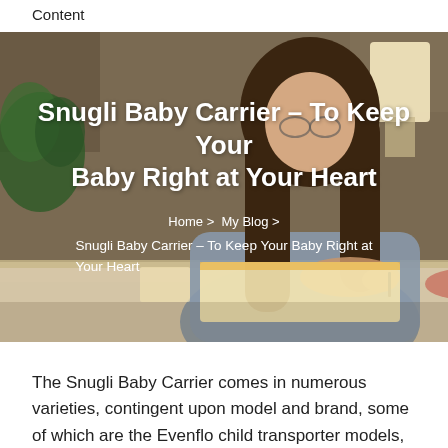Content
[Figure (photo): Woman with long brown hair sitting at a desk writing in a notebook, with a plant and lamp in the background. Dark warm-toned background.]
Snugli Baby Carrier – To Keep Your Baby Right at Your Heart
Home > My Blog > Snugli Baby Carrier – To Keep Your Baby Right at Your Heart
The Snugli Baby Carrier comes in numerous varieties, contingent upon model and brand, some of which are the Evenflo child transporter models, those from Ergo,